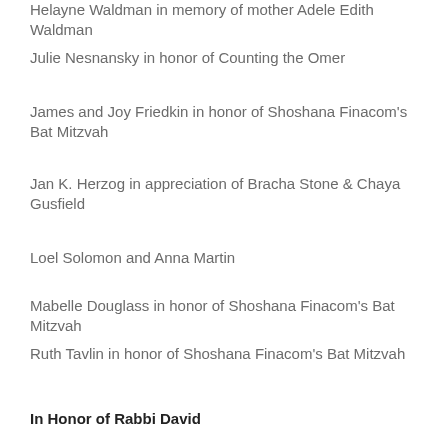Helayne Waldman in memory of mother Adele Edith Waldman
Julie Nesnansky in honor of Counting the Omer
James and Joy Friedkin in honor of Shoshana Finacom's Bat Mitzvah
Jan K. Herzog in appreciation of Bracha Stone & Chaya Gusfield
Loel Solomon and Anna Martin
Mabelle Douglass in honor of Shoshana Finacom's Bat Mitzvah
Ruth Tavlin in honor of Shoshana Finacom's Bat Mitzvah
In Honor of Rabbi David